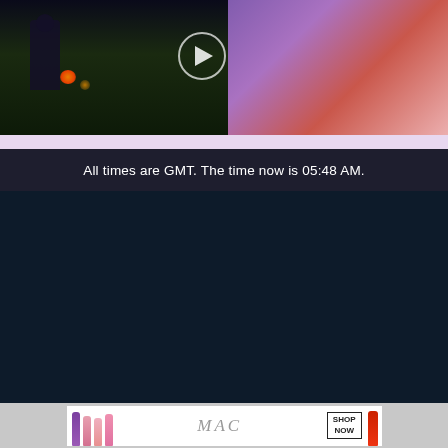[Figure (screenshot): Video thumbnail showing a fantasy game character (female figure with purple skin, green hair, headphones) on right side, dark forest/nature scene on left, with a circular play button overlay in the center top area. A lavender/pink bar appears below the video.]
All times are GMT. The time now is 05:48 AM.
[Figure (logo): A MAGIC FIND logo in white stylized font on dark navy background, with social media icons (Discord, YouTube, Twitter/X, Facebook) below and 'SOCIAL MEDIA' label in cyan]
[Figure (screenshot): MAC cosmetics advertisement showing lipsticks in purple, pink, and red colors, MAC logo in grey italic text, and a SHOP NOW box on the right side, on a light grey background]